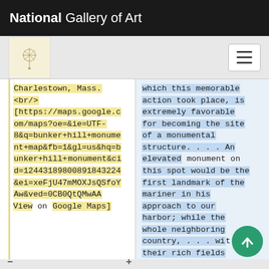National Gallery of Art
Charlestown, Mass.
<br/>
[https://maps.google.com/maps?oe=&ie=UTF-8&q=bunker+hill+monument+map&fb=1&gl=us&hq=bunker+hill+monument&cid=12443189800891843224&ei=xeFjU47mMOXJsQSfoYAw&ved=0CB0QtQMwAA
View on Google Maps]
which this memorable action took place, is extremely favorable for becoming the site of a monumental structure. . . . An elevated monument on this spot would be the first landmark of the mariner in his approach to our harbor; while the whole neighboring country, . . . with their rich fields villages and spires the buildings of the